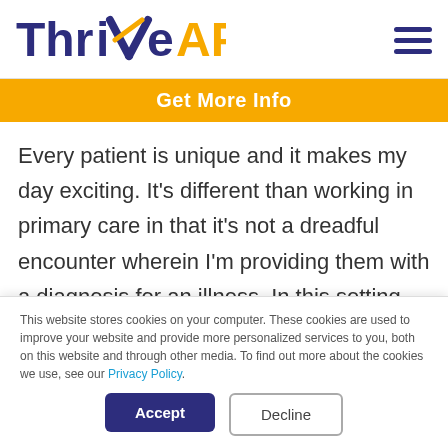[Figure (logo): ThriveAP logo with dark blue 'Thrive' text and golden-yellow 'AP' text, with a checkmark incorporated into the letter V]
Get More Info
Every patient is unique and it makes my day exciting. It’s different than working in primary care in that it’s not a dreadful encounter wherein I’m providing them with a diagnosis for an illness. In this setting, when patients
This website stores cookies on your computer. These cookies are used to improve your website and provide more personalized services to you, both on this website and through other media. To find out more about the cookies we use, see our Privacy Policy.
Accept
Decline